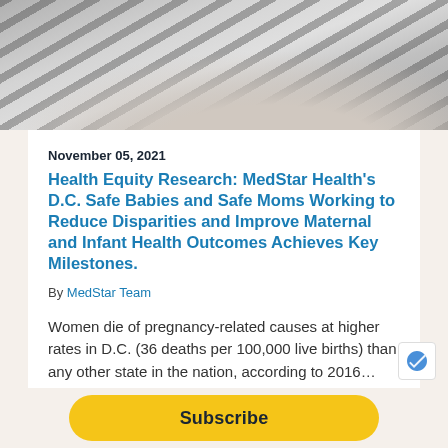[Figure (photo): Photo of a person in striped clothing, likely a mother with infant, viewed from above on a light gray background]
November 05, 2021
Health Equity Research: MedStar Health’s D.C. Safe Babies and Safe Moms Working to Reduce Disparities and Improve Maternal and Infant Health Outcomes Achieves Key Milestones.
By MedStar Team
Women die of pregnancy-related causes at higher rates in D.C. (36 deaths per 100,000 live births) than any other state in the nation, according to 2016…
Research   Innovation